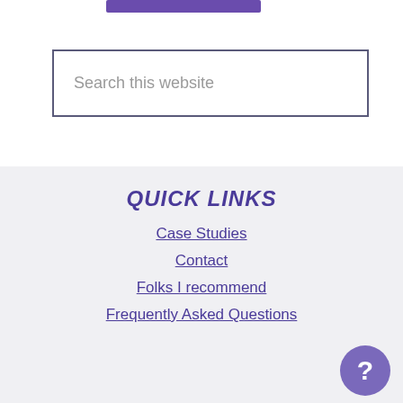[Figure (other): Purple decorative bar at the top of the page]
Search this website
QUICK LINKS
Case Studies
Contact
Folks I recommend
Frequently Asked Questions